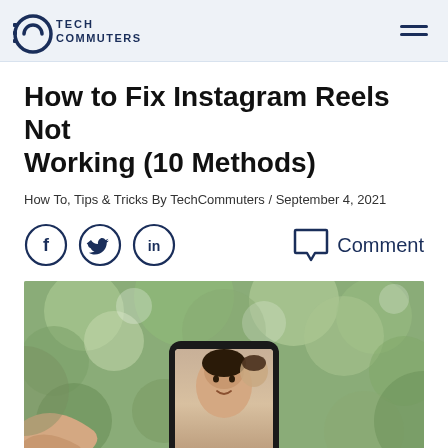TECH COMMUTERS
How to Fix Instagram Reels Not Working (10 Methods)
How To, Tips & Tricks By TechCommuters / September 4, 2021
[Figure (other): Social share icons: Facebook (f), Twitter (bird), LinkedIn (in) circles, and a Comment bubble icon with text 'Comment']
[Figure (photo): A person holding a smartphone displaying the Instagram camera/Reels interface showing two young women taking a selfie, with green bokeh tree foliage in the background.]